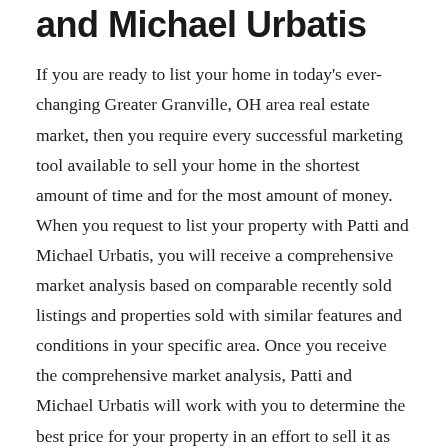and Michael Urbatis
If you are ready to list your home in today's ever-changing Greater Granville, OH area real estate market, then you require every successful marketing tool available to sell your home in the shortest amount of time and for the most amount of money. When you request to list your property with Patti and Michael Urbatis, you will receive a comprehensive market analysis based on comparable recently sold listings and properties sold with similar features and conditions in your specific area. Once you receive the comprehensive market analysis, Patti and Michael Urbatis will work with you to determine the best price for your property in an effort to sell it as quickly as possible and in the most profitable way.
Free Pricing E...